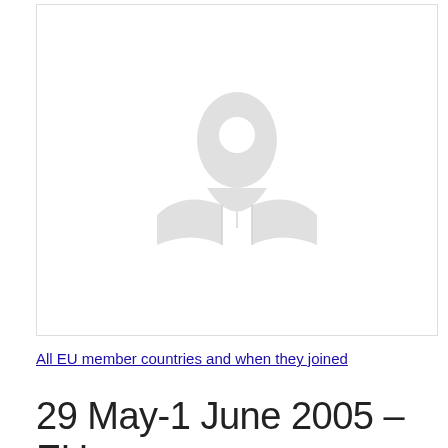[Figure (illustration): Map placeholder icon showing a location pin over an open map, rendered in light gray on white background]
All EU member countries and when they joined
29 May-1 June 2005 – EU